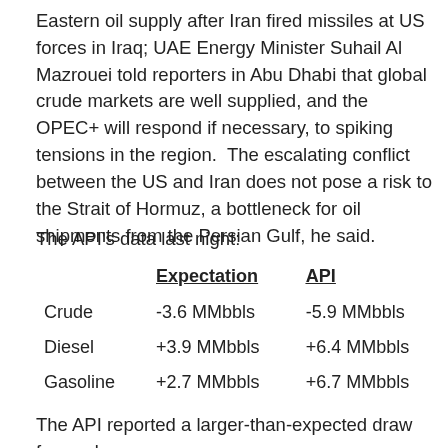Eastern oil supply after Iran fired missiles at US forces in Iraq; UAE Energy Minister Suhail Al Mazrouei told reporters in Abu Dhabi that global crude markets are well supplied, and the OPEC+ will respond if necessary, to spiking tensions in the region.  The escalating conflict between the US and Iran does not pose a risk to the Strait of Hormuz, a bottleneck for oil shipments from the Persian Gulf, he said.
The API's data last night:
|  | Expectation | API |
| --- | --- | --- |
| Crude | -3.6 MMbbls | -5.9 MMbbls |
| Diesel | +3.9 MMbbls | +6.4 MMbbls |
| Gasoline | +2.7 MMbbls | +6.7 MMbbls |
The API reported a larger-than-expected draw for crude